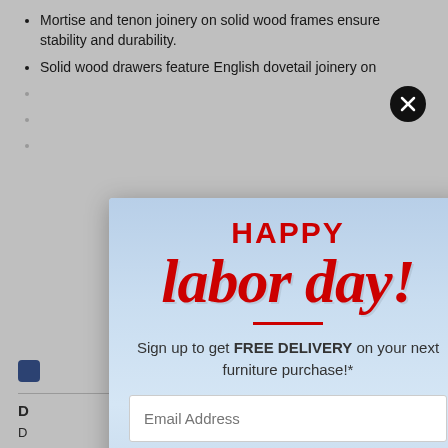Mortise and tenon joinery on solid wood frames ensure stability and durability.
Solid wood drawers feature English dovetail joinery on...
[Figure (screenshot): Happy Labor Day promotional modal popup overlay on a furniture retail website. Background shows city skyline in light blue tones. Modal contains: 'HAPPY' in bold red uppercase, 'labor day!' in large red italic script, a red horizontal divider, text 'Sign up to get FREE DELIVERY on your next furniture purchase!*', an email address input field, a blue 'ENJOY YOUR SAVINGS!' button, and a 'NO THANKS' text link. A black circular close button with X is in the top right corner of the modal.]